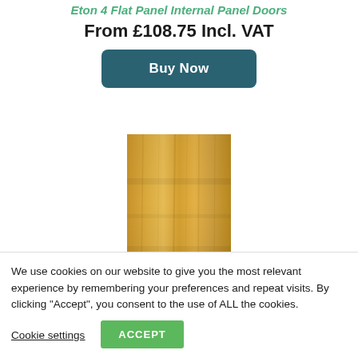Eton 4 Flat Panel Internal Panel Doors
From £108.75 Incl. VAT
[Figure (illustration): Buy Now button — teal rounded rectangle with white bold text]
[Figure (photo): Wooden door product image showing a flat panel door in a golden oak finish]
We use cookies on our website to give you the most relevant experience by remembering your preferences and repeat visits. By clicking "Accept", you consent to the use of ALL the cookies.
Cookie settings
ACCEPT